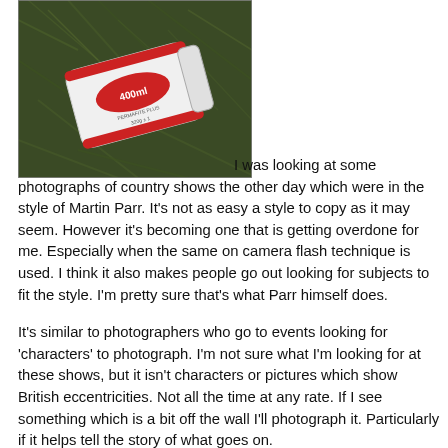[Figure (photo): A white cylindrical container/bottle with a red oval label reading '400ml', lying on green grass.]
I was looking at some photographs of country shows the other day which were in the style of Martin Parr. It's not as easy a style to copy as it may seem. However it's becoming one that is getting overdone for me. Especially when the same on camera flash technique is used. I think it also makes people go out looking for subjects to fit the style. I'm pretty sure that's what Parr himself does.

It's similar to photographers who go to events looking for 'characters' to photograph. I'm not sure what I'm looking for at these shows, but it isn't characters or pictures which show British eccentricities. Not all the time at any rate. If I see something which is a bit off the wall I'll photograph it. Particularly if it helps tell the story of what goes on.